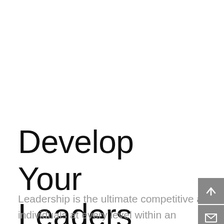Develop Your Leaders
Leadership is the ultimate competitive advantage, and it is created by the behaviour of individuals at every level within an